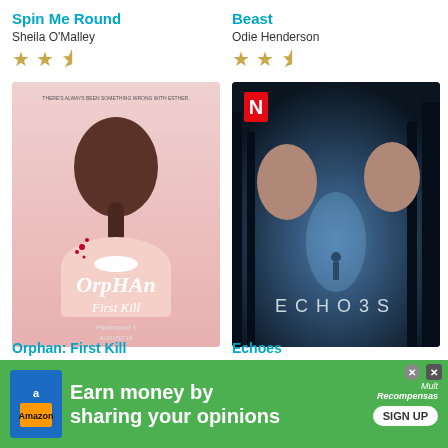Spin Me Round
Sheila O'Malley
[Figure (other): Star rating: 2.5 stars (two full gold stars and one half star)]
[Figure (photo): Movie poster for Orphan: First Kill showing a girl with braided hair from behind, wearing a white dress with blood spatters. Text reads ORPHAN First Kill, Paramount+, August 19.]
Beast
Odie Henderson
[Figure (other): Star rating: 2.5 stars (two full gold stars and one half star)]
[Figure (photo): Netflix show poster for Echoes showing two women facing opposite directions in a dark forest with a lone figure in the background. Title reads ECHOES.]
Orphan: First Kill
Echoes
[Figure (infographic): Green advertisement banner: 'Earn money by sharing your opinions' with Amazon icon, Mult Recompensas logo, and SIGN UP button.]